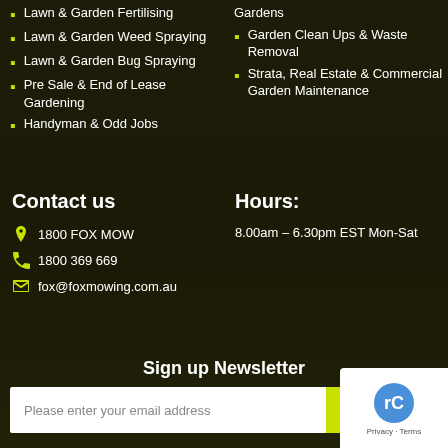Lawn & Garden Fertilising
Lawn & Garden Weed Spraying
Lawn & Garden Bug Spraying
Pre Sale & End of Lease Gardening
Handyman & Odd Jobs
Gardens
Garden Clean Ups & Waste Removal
Strata, Real Estate & Commercial Garden Maintenance
Contact us
1800 FOX MOW
1800 369 669
fox@foxmowing.com.au
Hours:
8.00am – 6.30pm EST Mon-Sat
Sign up Newsletter
Please enter your email address
Subscribe